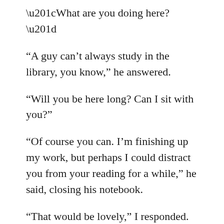“What are you doing here?”
“A guy can’t always study in the library, you know,” he answered.
“Will you be here long? Can I sit with you?”
“Of course you can. I’m finishing up my work, but perhaps I could distract you from your reading for a while,” he said, closing his notebook.
“That would be lovely,” I responded. “Let me just get my tea…”
“Your usual? Let me get it for you.” He went up